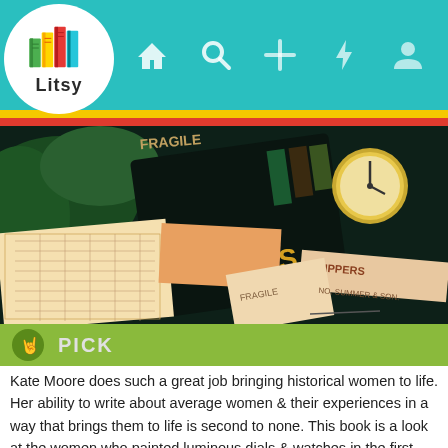[Figure (screenshot): Litsy app screenshot showing the top navigation bar with teal background, Litsy logo (colorful stacked books) in a white circle on the left, and navigation icons (home, search, plus, lightning bolt, user profile) on the right. Below the navbar are yellow and red color stripes, followed by a photo of old papers, ledgers, a clock, and vintage documents scattered on a surface. Below the photo is a green PICK bar with a hand/rock-on icon and PICK label. Below that is a book review text beginning with 'Kate Moore does such a great job bringing historical women to life.']